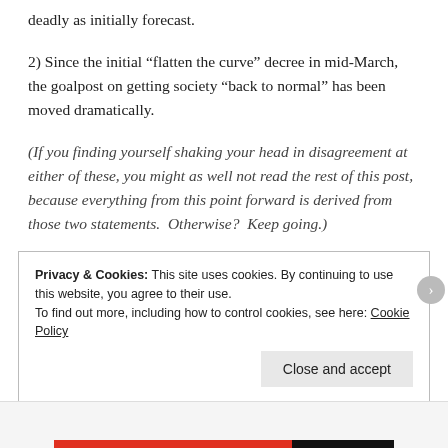deadly as initially forecast.
2) Since the initial “flatten the curve” decree in mid-March, the goalpost on getting society “back to normal” has been moved dramatically.
(If you finding yourself shaking your head in disagreement at either of these, you might as well not read the rest of this post, because everything from this point forward is derived from those two statements.  Otherwise?  Keep going.)
Privacy & Cookies: This site uses cookies. By continuing to use this website, you agree to their use.
To find out more, including how to control cookies, see here: Cookie Policy
Close and accept